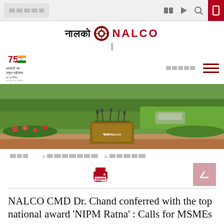NALCO website navigation bar with Hindi text and icons
[Figure (logo): NALCO logo with Hindi text 'नालको' and an emblem, followed by 'NALCO' in red bold text]
[Figure (logo): Azadi Ka Amrit Mahotsav 75 years badge with Indian flag tricolor and text]
[Figure (photo): Outdoor press conference podium with microphones in a garden setting with green hedges and trees; a car is visible in the background]
॥ > मीडिया-सेंटर > प्रेस विज्ञप्ति
NALCO CMD Dr. Chand conferred with the top national award 'NIPM Ratna' : Calls for MSMEs